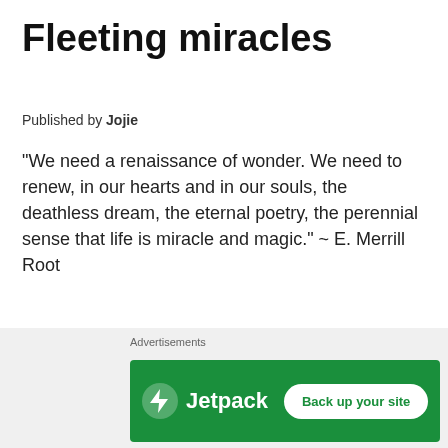Fleeting miracles
Published by Jojie
“We need a renaissance of wonder. We need to renew, in our hearts and in our souls, the deathless dream, the eternal poetry, the perennial sense that life is miracle and magic.” ~ E. Merrill Root
November 25, 2012 — Comments 6
Adventure / Amazingness / Ancient Wonders / Dreams / Emotions / Landscape / Life / Miracles / Nature / Passion / Photography / Reflections / Scene Stealers / Travel
[Figure (other): Jetpack advertisement banner with logo and 'Back up your site' button on green background]